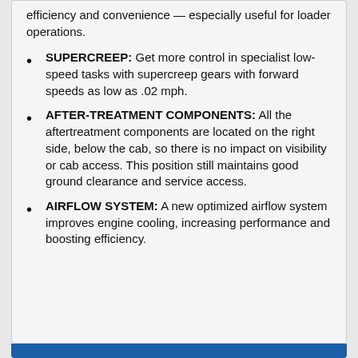efficiency and convenience — especially useful for loader operations.
SUPERCREEP: Get more control in specialist low-speed tasks with supercreep gears with forward speeds as low as .02 mph.
AFTER-TREATMENT COMPONENTS: All the aftertreatment components are located on the right side, below the cab, so there is no impact on visibility or cab access. This position still maintains good ground clearance and service access.
AIRFLOW SYSTEM: A new optimized airflow system improves engine cooling, increasing performance and boosting efficiency.